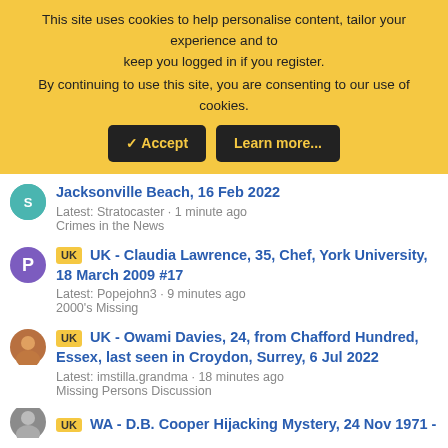This site uses cookies to help personalise content, tailor your experience and to keep you logged in if you register. By continuing to use this site, you are consenting to our use of cookies.
✓ Accept | Learn more...
Jacksonville Beach, 16 Feb 2022
Latest: Stratocaster · 1 minute ago
Crimes in the News
UK UK - Claudia Lawrence, 35, Chef, York University, 18 March 2009 #17
Latest: Popejohn3 · 9 minutes ago
2000's Missing
UK UK - Owami Davies, 24, from Chafford Hundred, Essex, last seen in Croydon, Surrey, 6 Jul 2022
Latest: imstilla.grandma · 18 minutes ago
Missing Persons Discussion
WA - D.B. Cooper Hijacking Mystery, 24 Nov 1971 - #1...